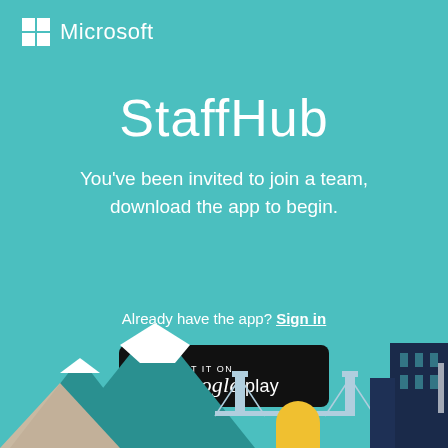[Figure (logo): Microsoft logo: four-square Windows grid icon in white, followed by 'Microsoft' text in white]
StaffHub
You've been invited to join a team, download the app to begin.
Already have the app? Sign in
[Figure (other): Google Play store badge: black rounded rectangle with Google Play triangle icon and text 'GET IT ON Google play']
[Figure (illustration): Decorative cityscape and mountain scenery at the bottom of the page: teal mountains with white snow caps on the left, a bridge in the center-right, and dark navy blue city buildings on the far right, with a yellow/gold semi-circle (sun or dome) visible near center]